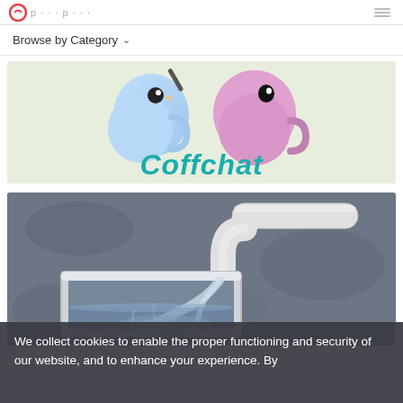Browse by Category
[Figure (illustration): Cartoon coffee chat logo with two animated colorful mugs and the text 'Coffchat' in teal handwriting style on a light background]
[Figure (photo): 3D rendered image of water pouring from a white pipe into a white rectangular container/box on a gray textured surface]
We collect cookies to enable the proper functioning and security of our website, and to enhance your experience. By clicking on Accept All Cookies, you consent to our use of cookies.